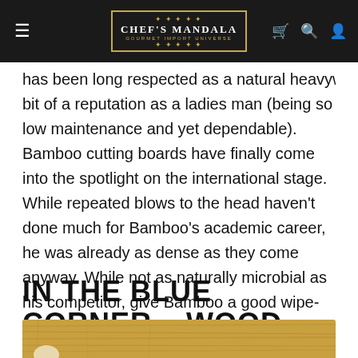Chef's Mandala — Gourmet Import Universe (navigation bar)
...has been long respected as a natural heavyweight, and has a bit of a reputation as a ladies man (being so low maintenance and yet dependable).  Bamboo cutting boards have finally come into the spotlight on the international stage.  While repeated blows to the head haven't done much for Bamboo's academic career, he was already as dense as they come anyway.  While not as naturally microbial as his competitor, give Bamboo a good wipe-down and he'll keep coming back for more!
IN THE BLUE CORNER – WOOD
[Figure (photo): A worn wooden cutting board with visible grain and a hole/handle cutout, photographed from above.]